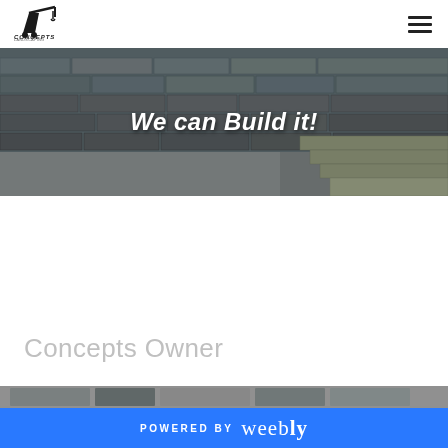[Figure (logo): Concepts Landscaping logo with crane icon and company name]
[Figure (other): Hamburger menu icon (three horizontal lines) in top right corner]
[Figure (photo): Hero banner showing a stone retaining wall with steps and gravel landscaping, dark and light stone blocks]
We can Build it!
Concepts Owner
[Figure (photo): Partial photo strip at bottom showing people/outdoor scene]
POWERED BY weebly